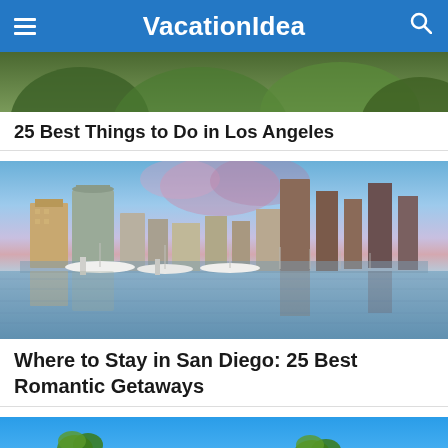VacationIdea
[Figure (photo): Partial top image of a lush green tree-covered outdoor scene, cropped at top]
25 Best Things to Do in Los Angeles
[Figure (photo): San Diego skyline at dusk reflected in calm marina water with yachts in foreground and skyscrapers behind]
Where to Stay in San Diego: 25 Best Romantic Getaways
[Figure (photo): Partial bottom image showing palm trees against a bright blue sky, cropped at bottom]